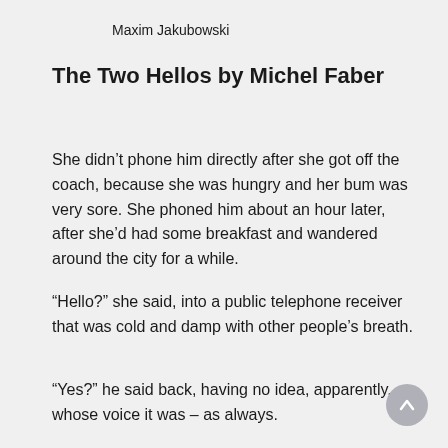Maxim Jakubowski
The Two Hellos by Michel Faber
She didn’t phone him directly after she got off the coach, because she was hungry and her bum was very sore. She phoned him about an hour later, after she’d had some breakfast and wandered around the city for a while.
“Hello?” she said, into a public telephone receiver that was cold and damp with other people’s breath.
“Yes?” he said back, having no idea, apparently, whose voice it was – as always.